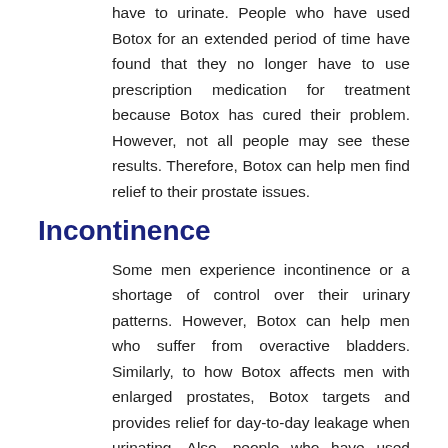have to urinate. People who have used Botox for an extended period of time have found that they no longer have to use prescription medication for treatment because Botox has cured their problem. However, not all people may see these results. Therefore, Botox can help men find relief to their prostate issues.
Incontinence
Some men experience incontinence or a shortage of control over their urinary patterns. However, Botox can help men who suffer from overactive bladders. Similarly, to how Botox affects men with enlarged prostates, Botox targets and provides relief for day-to-day leakage when urinating. Also, people who have used Botox to treat their urinary problems have found that Botox is one of the most effective treatments on the market. Unlike common prescription medication, Botox doesn't have side effects that affect your everyday life. Therefore, Botox is an effective solution if you suffer from